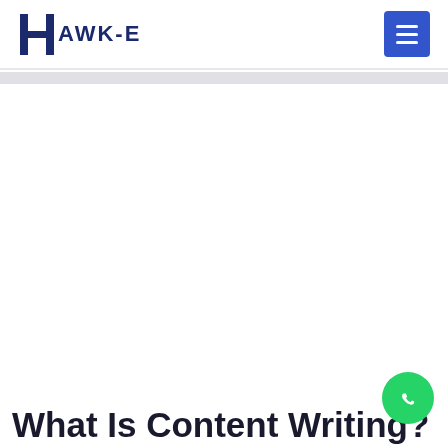HAWK-E
What Is Content Writing?